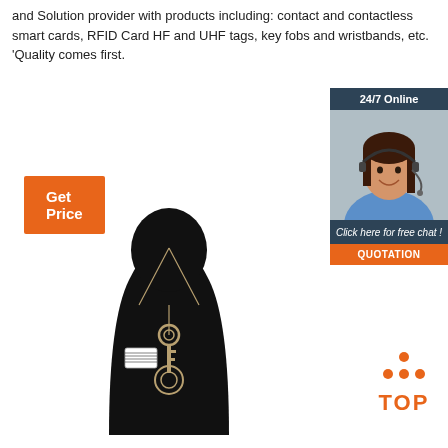and Solution provider with products including: contact and contactless smart cards, RFID Card HF and UHF tags, key fobs and wristbands, etc. 'Quality comes first.
Get Price
[Figure (photo): 24/7 online customer service agent - woman with headset smiling, with 'Click here for free chat!' and QUOTATION button]
[Figure (photo): Necklace with decorative key pendant displayed on a black jewelry bust stand with a price tag]
[Figure (infographic): TOP badge with orange dots arranged in a triangle above the word TOP in orange]